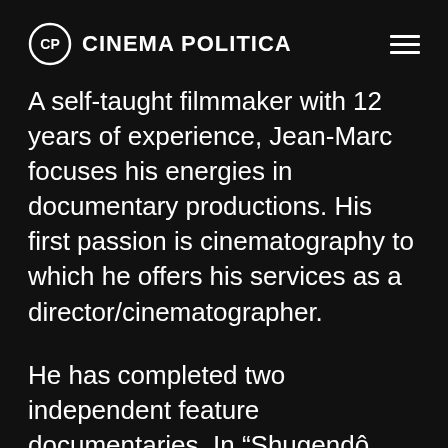CINEMA POLITICA
A self-taught filmmaker with 12 years of experience, Jean-Marc focuses his energies in documentary productions. His first passion is cinematography to which he offers his services as a director/cinematographer.
He has completed two independent feature documentaries. In “Shugendô Now” he explores our relationship to nature through a Japanese tradition. In “Diversidad” he follows a group of young